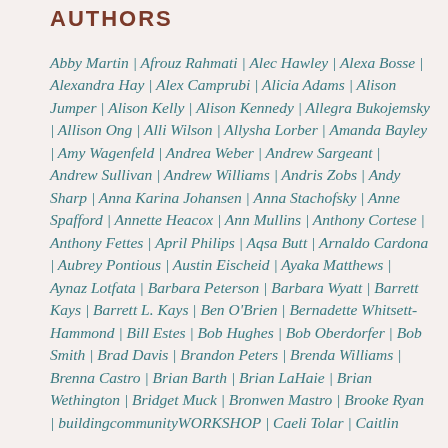AUTHORS
Abby Martin | Afrouz Rahmati | Alec Hawley | Alexa Bosse | Alexandra Hay | Alex Camprubi | Alicia Adams | Alison Jumper | Alison Kelly | Alison Kennedy | Allegra Bukojemsky | Allison Ong | Alli Wilson | Allysha Lorber | Amanda Bayley | Amy Wagenfeld | Andrea Weber | Andrew Sargeant | Andrew Sullivan | Andrew Williams | Andris Zobs | Andy Sharp | Anna Karina Johansen | Anna Stachofsky | Anne Spafford | Annette Heacox | Ann Mullins | Anthony Cortese | Anthony Fettes | April Philips | Aqsa Butt | Arnaldo Cardona | Aubrey Pontious | Austin Eischeid | Ayaka Matthews | Aynaz Lotfata | Barbara Peterson | Barbara Wyatt | Barrett Kays | Barrett L. Kays | Ben O'Brien | Bernadette Whitsett-Hammond | Bill Estes | Bob Hughes | Bob Oberdorfer | Bob Smith | Brad Davis | Brandon Peters | Brenda Williams | Brenna Castro | Brian Barth | Brian LaHaie | Brian Wethington | Bridget Muck | Bronwen Mastro | Brooke Ryan | buildingcommunityWORKSHOP | Caeli Tolar | Caitlin